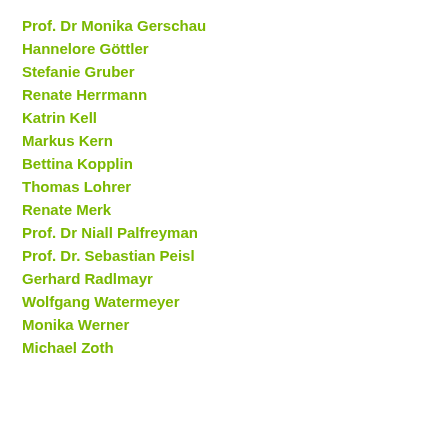Prof. Dr Monika Gerschau
Hannelore Göttler
Stefanie Gruber
Renate Herrmann
Katrin Kell
Markus Kern
Bettina Kopplin
Thomas Lohrer
Renate Merk
Prof. Dr Niall Palfreyman
Prof. Dr. Sebastian Peisl
Gerhard Radlmayr
Wolfgang Watermeyer
Monika Werner
Michael Zoth